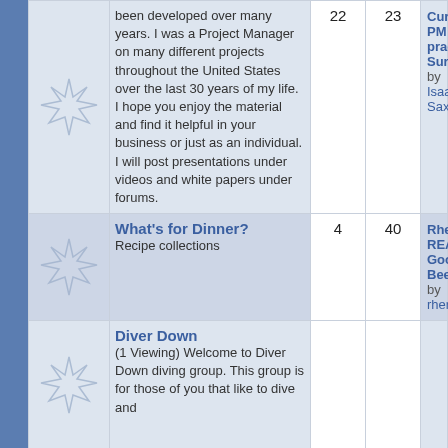| Icon | Forum | Posts | Members | Last Post |
| --- | --- | --- | --- | --- |
| [starburst icon] | been developed over many years. I was a Project Manager on many different projects throughout the United States over the last 30 years of my life. I hope you enjoy the material and find it helpful in your business or just as an individual. I will post presentations under videos and white papers under forums. | 22 | 23 | Current PM practices Surve... by Isaac-Saxxon |
| [starburst icon] | What's for Dinner? Recipe collections | 4 | 40 | Rhertz's REALLY Good Bee... by rhertz |
| [starburst icon] | Diver Down (1 Viewing) Welcome to Diver Down diving group. This group is for those of you that like to dive and |  |  |  |